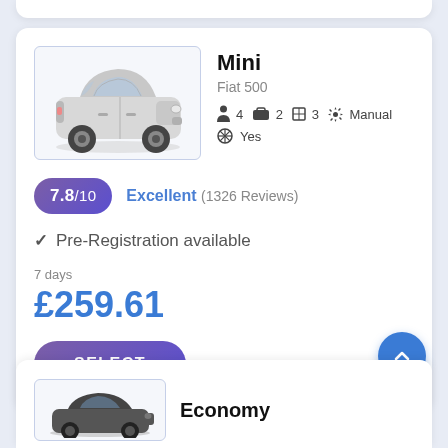[Figure (photo): White Fiat 500 car photo inside a bordered rectangle]
Mini
Fiat 500
4 passengers  2 bags  3 doors  Manual  AC Yes
7.8/10  Excellent (1326 Reviews)
✓ Pre-Registration available
7 days
£259.61
SELECT
Economy
[Figure (photo): Dark car photo in bottom card stub]